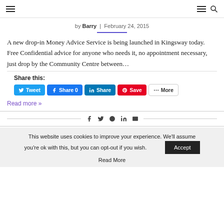Navigation header with hamburger menu and search icon
by Barry | February 24, 2015
A new drop-in Money Advice Service is being launched in Kingsway today.  Free Confidential advice for anyone who needs it, no appointment necessary, just drop by the Community Centre between…
Share this:
Read more »
This website uses cookies to improve your experience. We'll assume you're ok with this, but you can opt-out if you wish.
Accept
Read More